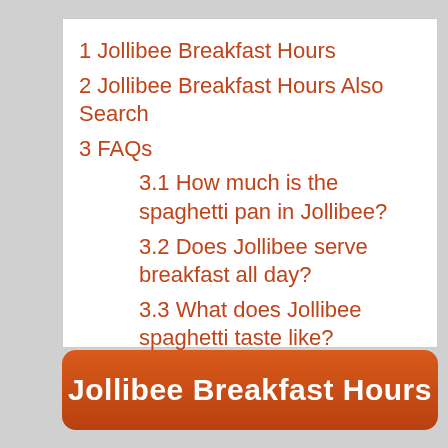1 Jollibee Breakfast Hours
2 Jollibee Breakfast Hours Also Search
3 FAQs
3.1 How much is the spaghetti pan in Jollibee?
3.2 Does Jollibee serve breakfast all day?
3.3 What does Jollibee spaghetti taste like?
Jollibee Breakfast Hours